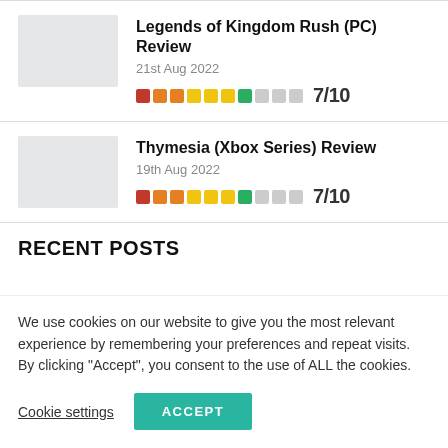[Figure (photo): Thumbnail image placeholder (grey box) for Legends of Kingdom Rush review]
Legends of Kingdom Rush (PC) Review
21st Aug 2022
7/10
[Figure (photo): Thumbnail image placeholder (grey box) for Thymesia review]
Thymesia (Xbox Series) Review
19th Aug 2022
7/10
RECENT POSTS
We use cookies on our website to give you the most relevant experience by remembering your preferences and repeat visits. By clicking “Accept”, you consent to the use of ALL the cookies.
Cookie settings
ACCEPT